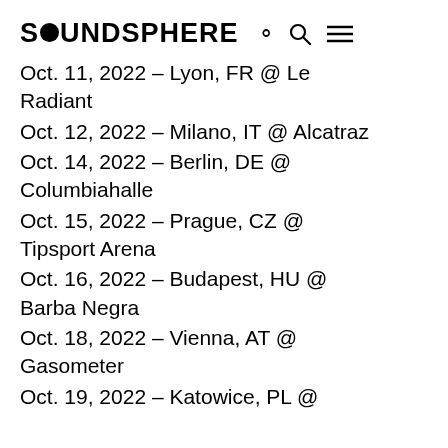SOUNDSPHERE
Oct. 11, 2022 – Lyon, FR @ Le Radiant
Oct. 12, 2022 – Milano, IT @ Alcatraz
Oct. 14, 2022 – Berlin, DE @ Columbiahalle
Oct. 15, 2022 – Prague, CZ @ Tipsport Arena
Oct. 16, 2022 – Budapest, HU @ Barba Negra
Oct. 18, 2022 – Vienna, AT @ Gasometer
Oct. 19, 2022 – Katowice, PL @